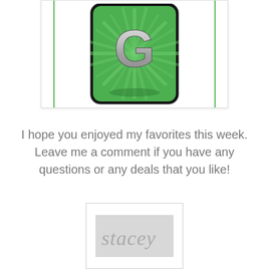[Figure (screenshot): App icon screenshot showing a green background with radiating lighter green sunburst lines and a large silver metallic letter G in the center, displayed inside a phone/tablet frame with left and right green vertical lines flanking the card.]
I hope you enjoyed my favorites this week. Leave me a comment if you have any questions or any deals that you like!
[Figure (illustration): A signature reading 'stacey' in cursive script, displayed in light gray on a slightly darker gray rectangular background, all within a white bordered card.]